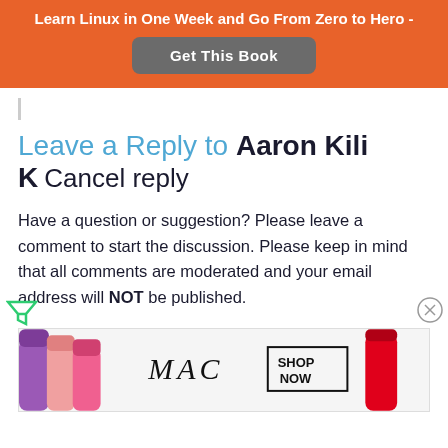Learn Linux in One Week and Go From Zero to Hero -
Get This Book
Leave a Reply to Aaron Kili K Cancel reply
Have a question or suggestion? Please leave a comment to start the discussion. Please keep in mind that all comments are moderated and your email address will NOT be published.
[Figure (infographic): MAC cosmetics advertisement banner with lipsticks and SHOP NOW button]